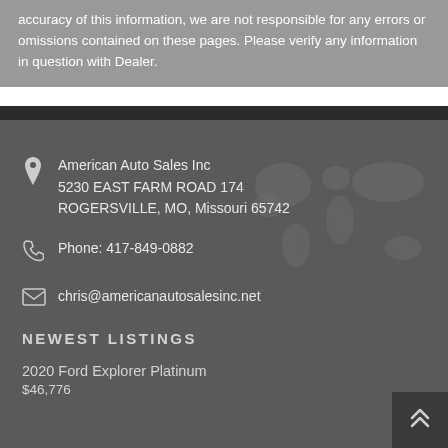accuracy of this information, we are not responsible for any errors or omissions contained on these pages. Please verify any information in question with Dealer.
American Auto Sales Inc
5230 EAST FARM ROAD 174
ROGERSVILLE, MO, Missouri 65742
Phone: 417-849-0882
chris@americanautosalesinc.net
NEWEST LISTINGS
2020 Ford Explorer Platinum
$46,776